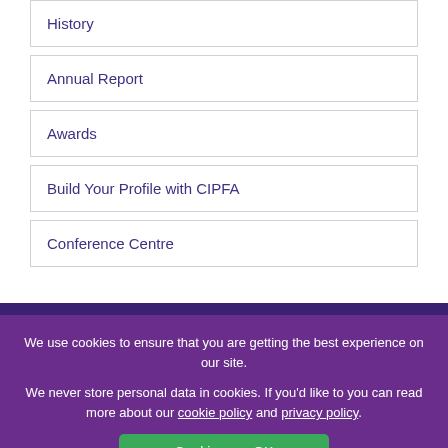History
Annual Report
Awards
Build Your Profile with CIPFA
Conference Centre
We use cookies to ensure that you are getting the best experience on our site.
We never store personal data in cookies. If you'd like to you can read more about our cookie policy and privacy policy.
Cookies are OK
Leave site